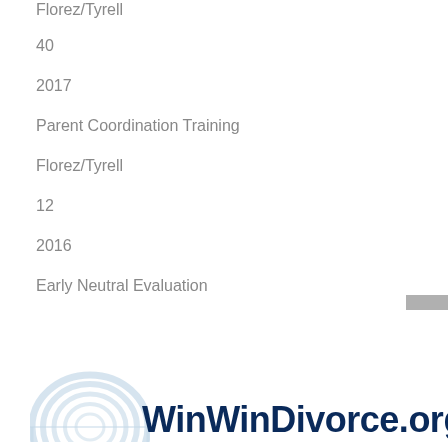Florez/Tyrell
40
2017
Parent Coordination Training
Florez/Tyrell
12
2016
Early Neutral Evaluation
Florez/Tyrell
8
[Figure (logo): WinWinDivorce.org logo with bridge arch graphic in light blue and bold dark navy text reading WINWINDIVORCE.ORG]